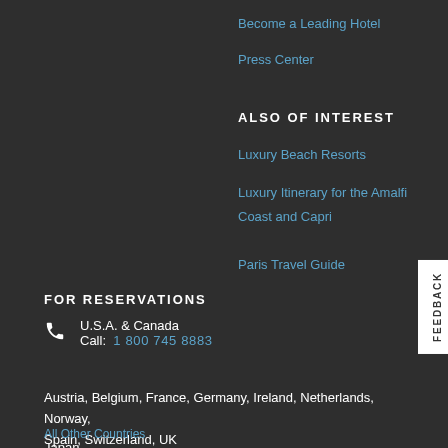Become a Leading Hotel
Press Center
ALSO OF INTEREST
Luxury Beach Resorts
Luxury Itinerary for the Amalfi Coast and Capri
Paris Travel Guide
FOR RESERVATIONS
U.S.A. & Canada
Call: 1 800 745 8883
Austria, Belgium, France, Germany, Ireland, Netherlands, Norway, Spain, Switzerland, UK
Call: 00800 10 10 11 11
Japan
Call: 0120-086-230 toll free
All Other Countries